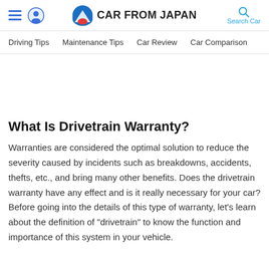CAR FROM JAPAN
Driving Tips  Maintenance Tips  Car Review  Car Comparison
What Is Drivetrain Warranty?
Warranties are considered the optimal solution to reduce the severity caused by incidents such as breakdowns, accidents, thefts, etc., and bring many other benefits. Does the drivetrain warranty have any effect and is it really necessary for your car? Before going into the details of this type of warranty, let's learn about the definition of "drivetrain" to know the function and importance of this system in your vehicle.